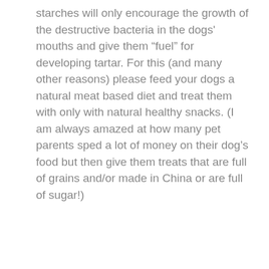starches will only encourage the growth of the destructive bacteria in the dogs' mouths and give them “fuel” for developing tartar. For this (and many other reasons) please feed your dogs a natural meat based diet and treat them with only with natural healthy snacks. (I am always amazed at how many pet parents sped a lot of money on their dog’s food but then give them treats that are full of grains and/or made in China or are full of sugar!)